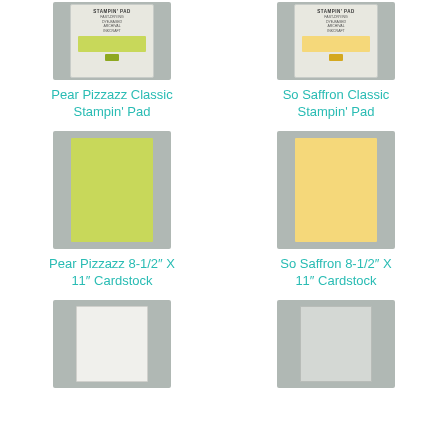[Figure (photo): Pear Pizzazz Classic Stampin' Pad product image on gray background]
Pear Pizzazz Classic Stampin' Pad
[Figure (photo): So Saffron Classic Stampin' Pad product image on gray background]
So Saffron Classic Stampin' Pad
[Figure (photo): Pear Pizzazz 8-1/2" X 11" Cardstock product image on gray background]
Pear Pizzazz 8-1/2" X 11" Cardstock
[Figure (photo): So Saffron 8-1/2" X 11" Cardstock product image on gray background]
So Saffron 8-1/2" X 11" Cardstock
[Figure (photo): White note card / envelope product image on gray background (partially visible)]
[Figure (photo): Silver/gray note card product image on gray background (partially visible)]